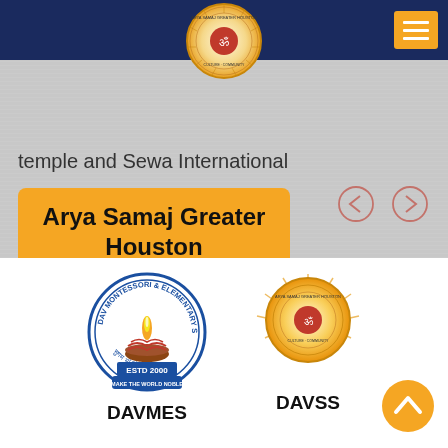[Figure (logo): Arya Samaj Greater Houston circular logo with Sanskrit text and orange glow, positioned in top navigation bar]
[Figure (other): Hamburger menu button (three horizontal lines) on orange/yellow background in top right corner]
temple and Sewa International
Arya Samaj Greater Houston
[Figure (other): Left and right navigation arrow circles]
[Figure (logo): DAV Montessori and Elementary School circular logo with flame, ESTD 2000, MAKE THE WORLD NOBLE banner]
DAVMES
[Figure (logo): Arya Samaj Greater Houston orange glowing circular logo]
DAVSS
[Figure (other): Back to top chevron button in orange circle]